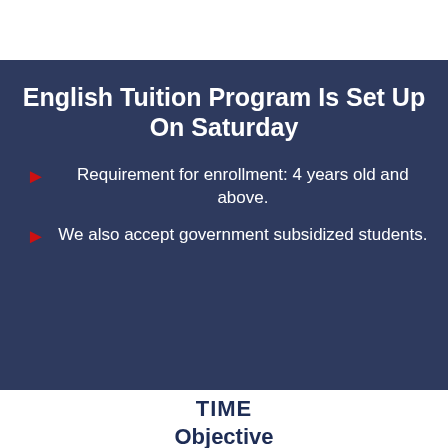English Tuition Program Is Set Up On Saturday
Requirement for enrollment: 4 years old and above.
We also accept government subsidized students.
TIME
Objective